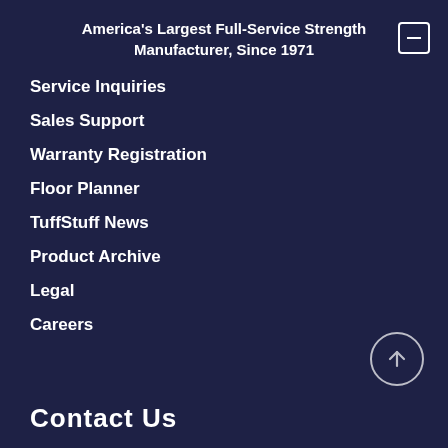America's Largest Full-Service Strength Manufacturer, Since 1971
Service Inquiries
Sales Support
Warranty Registration
Floor Planner
TuffStuff News
Product Archive
Legal
Careers
Contact Us